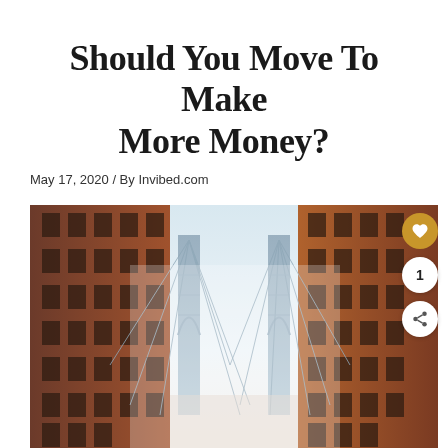Should You Move To Make More Money?
May 17, 2020 / By Invibed.com
[Figure (photo): Street-level photo looking up between red brick buildings toward the Manhattan Bridge in New York City, with a misty sky behind the steel bridge structure.]